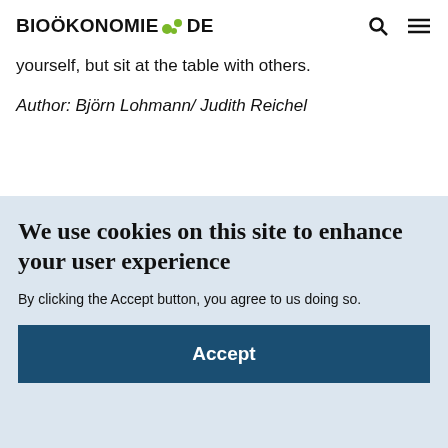BIOÖKONOMIE DE
yourself, but sit at the table with others.
Author: Björn Lohmann/ Judith Reichel
We use cookies on this site to enhance your user experience
By clicking the Accept button, you agree to us doing so.
Accept